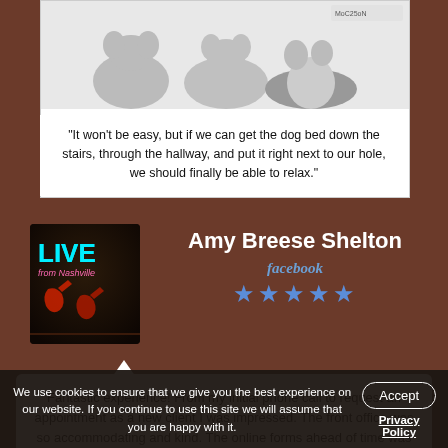[Figure (illustration): Comic strip panel showing cartoon dogs/mice near a hole, with a caption about getting a dog bed down stairs]
"It won't be easy, but if we can get the dog bed down the stairs, through the hallway, and put it right next to our hole, we should finally be able to relax."
[Figure (photo): Square album art or profile photo showing 'LIVE from Nashville' neon sign in green and pink, with reddish guitar shapes]
Amy Breese Shelton
facebook
★★★★★ (5 stars)
Fantastic experience! From my initial phone call to request an appointment as a new client I was impressed. The front office was so accommodating and kind. The online forms ahead of time was all so easy. The day of our appointment we met Eric our vet tech.
We use cookies to ensure that we give you the best experience on our website. If you continue to use this site we will assume that you are happy with it.
Accept
Privacy Policy